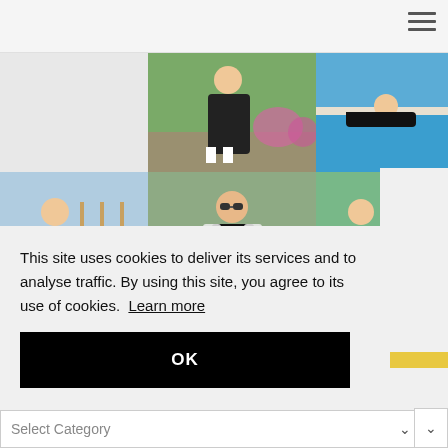[Figure (photo): Website screenshot showing a fashion/lifestyle blog with a photo grid of women in various outfits and a cookie consent overlay. Top navigation bar with hamburger menu. Grid shows: woman in black dress in garden, woman in bikini by pool, woman outdoors, woman in black outfit with sunglasses, two women in striped tops. Cookie consent banner reads 'This site uses cookies to deliver its services and to analyse traffic. By using this site, you agree to its use of cookies. Learn more' with an OK button. Bottom shows a Select Category dropdown.]